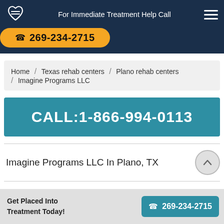For Immediate Treatment Help Call ☎ 269-234-2715
Home / Texas rehab centers / Plano rehab centers / Imagine Programs LLC
CALL:1-866-994-0113
Imagine Programs LLC In Plano, TX
Get Placed Into Treatment Today! ☎ 269-234-2715